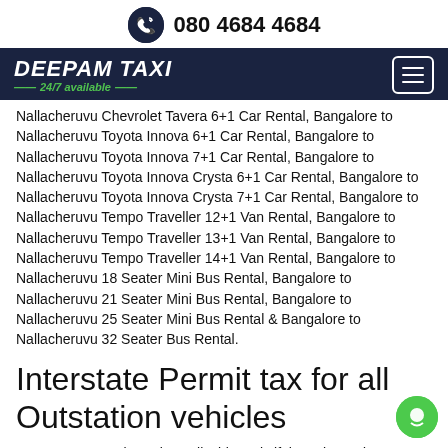080 4684 4684
DEEPAM TAXI 24/7 available
Nallacheruvu Chevrolet Tavera 6+1 Car Rental, Bangalore to Nallacheruvu Toyota Innova 6+1 Car Rental, Bangalore to Nallacheruvu Toyota Innova 7+1 Car Rental, Bangalore to Nallacheruvu Toyota Innova Crysta 6+1 Car Rental, Bangalore to Nallacheruvu Toyota Innova Crysta 7+1 Car Rental, Bangalore to Nallacheruvu Tempo Traveller 12+1 Van Rental, Bangalore to Nallacheruvu Tempo Traveller 13+1 Van Rental, Bangalore to Nallacheruvu Tempo Traveller 14+1 Van Rental, Bangalore to Nallacheruvu 18 Seater Mini Bus Rental, Bangalore to Nallacheruvu 21 Seater Mini Bus Rental, Bangalore to Nallacheruvu 25 Seater Mini Bus Rental & Bangalore to Nallacheruvu 32 Seater Bus Rental.
Interstate Permit tax for all Outstation vehicles
Note: State Permit Tax is applicable, only if the cab needs to enter a new state.